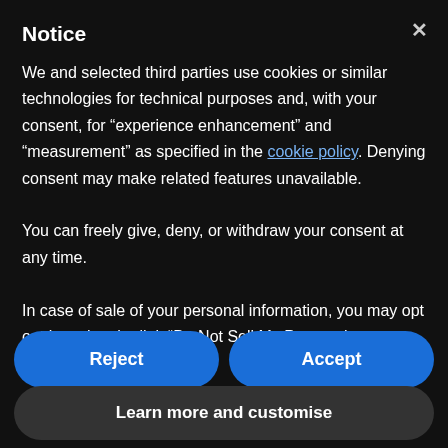Notice
We and selected third parties use cookies or similar technologies for technical purposes and, with your consent, for “experience enhancement” and “measurement” as specified in the cookie policy. Denying consent may make related features unavailable.

You can freely give, deny, or withdraw your consent at any time.

In case of sale of your personal information, you may opt out by using the link “Do Not Sell My Personal Information”.
Reject
Accept
Learn more and customise